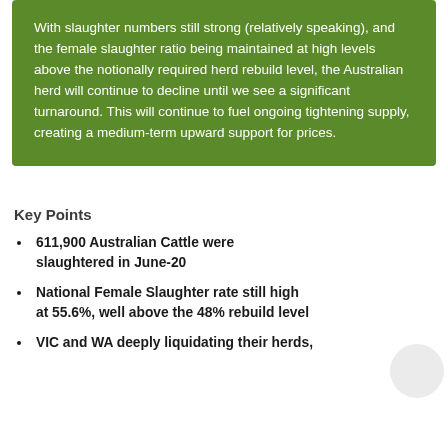With slaughter numbers still strong (relatively speaking), and the female slaughter ratio being maintained at high levels above the notionally required herd rebuild level, the Australian herd will continue to decline until we see a significant turnaround. This will continue to fuel ongoing tightening supply, creating a medium-term upward support for prices.
Key Points
611,900 Australian Cattle were slaughtered in June-20
National Female Slaughter rate still high at 55.6%, well above the 48% rebuild level
VIC and WA deeply liquidating their herds,